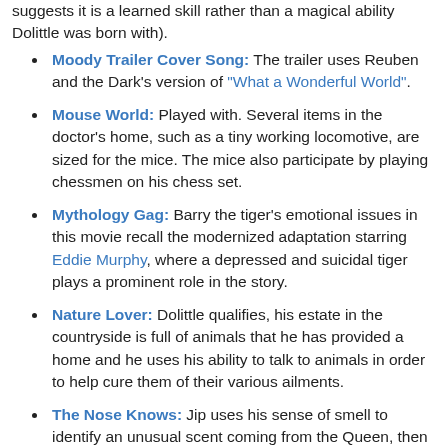suggests it is a learned skill rather than a magical ability Dolittle was born with).
Moody Trailer Cover Song: The trailer uses Reuben and the Dark's version of "What a Wonderful World".
Mouse World: Played with. Several items in the doctor's home, such as a tiny working locomotive, are sized for the mice. The mice also participate by playing chessmen on his chess set.
Mythology Gag: Barry the tiger's emotional issues in this movie recall the modernized adaptation starring Eddie Murphy, where a depressed and suicidal tiger plays a prominent role in the story.
Nature Lover: Dolittle qualifies, his estate in the countryside is full of animals that he has provided a home and he uses his ability to talk to animals in order to help cure them of their various ailments.
The Nose Knows: Jip uses his sense of smell to identify an unusual scent coming from the Queen, then matches that scent to the nightshade flower, thus showing that she...